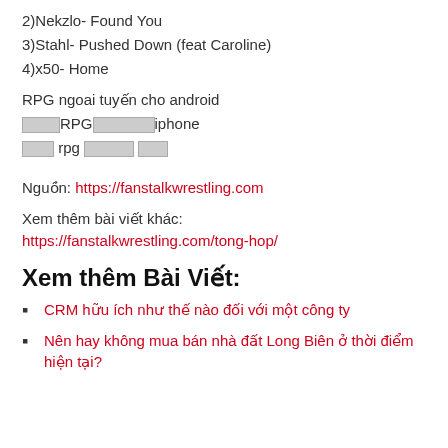2)Nekzlo- Found You
3)Stahl- Pushed Down (feat Caroline)
4)x50- Home
RPG ngoai tuyến cho android
[unrenderable]RPG[unrenderable]iphone
[unrenderable] rpg [unrenderable] [unrenderable]
Nguồn: https://fanstalkwrestling.com
Xem thêm bài viết khác:
https://fanstalkwrestling.com/tong-hop/
Xem thêm Bài Viết:
CRM hữu ích như thế nào đối với một công ty
Nên hay không mua bán nhà đất Long Biên ở thời điểm hiện tại?